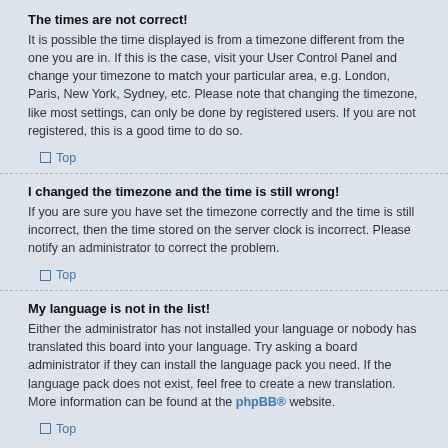The times are not correct!
It is possible the time displayed is from a timezone different from the one you are in. If this is the case, visit your User Control Panel and change your timezone to match your particular area, e.g. London, Paris, New York, Sydney, etc. Please note that changing the timezone, like most settings, can only be done by registered users. If you are not registered, this is a good time to do so.
Top
I changed the timezone and the time is still wrong!
If you are sure you have set the timezone correctly and the time is still incorrect, then the time stored on the server clock is incorrect. Please notify an administrator to correct the problem.
Top
My language is not in the list!
Either the administrator has not installed your language or nobody has translated this board into your language. Try asking a board administrator if they can install the language pack you need. If the language pack does not exist, feel free to create a new translation. More information can be found at the phpBB® website.
Top